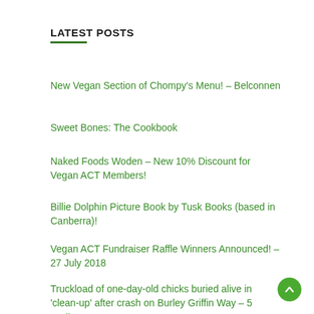LATEST POSTS
New Vegan Section of Chompy's Menu! – Belconnen
Sweet Bones: The Cookbook
Naked Foods Woden – New 10% Discount for Vegan ACT Members!
Billie Dolphin Picture Book by Tusk Books (based in Canberra)!
Vegan ACT Fundraiser Raffle Winners Announced! – 27 July 2018
Truckload of one-day-old chicks buried alive in 'clean-up' after crash on Burley Griffin Way – 5 April 2018